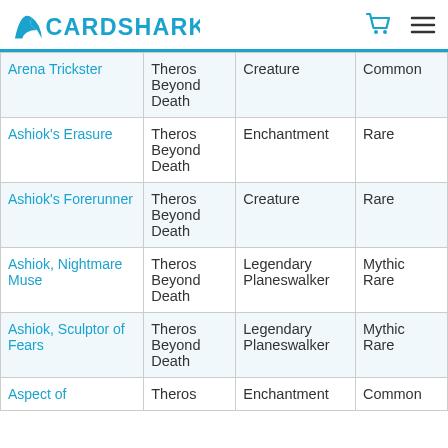CardShark
| Card Name | Set | Type | Rarity |
| --- | --- | --- | --- |
| Arena Trickster | Theros Beyond Death | Creature | Common |
| Ashiok's Erasure | Theros Beyond Death | Enchantment | Rare |
| Ashiok's Forerunner | Theros Beyond Death | Creature | Rare |
| Ashiok, Nightmare Muse | Theros Beyond Death | Legendary Planeswalker | Mythic Rare |
| Ashiok, Sculptor of Fears | Theros Beyond Death | Legendary Planeswalker | Mythic Rare |
| Aspect of ... | Theros | Enchantment | Common |